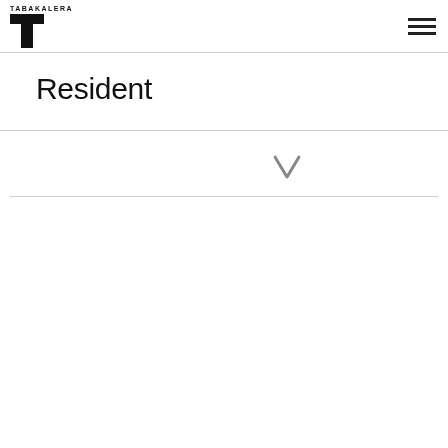TABAKALERA logo with hamburger menu
Resident
[Figure (other): Down arrow icon (chevron/arrow pointing downward) in gray]